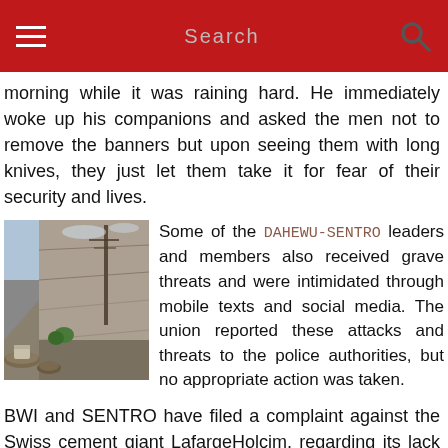Search
morning while it was raining hard. He immediately woke up his companions and asked the men not to remove the banners but upon seeing them with long knives, they just let them take it for fear of their security and lives.
[Figure (photo): Photograph of a narrow street or alley beside a long wall, with logs/debris on the ground, utility poles visible, taken from street level.]
Some of the DAHEWU-SENTRO leaders and members also received grave threats and were intimidated through mobile texts and social media. The union reported these attacks and threats to the police authorities, but no appropriate action was taken.
BWI and SENTRO have filed a complaint against the Swiss cement giant LafargeHolcim, regarding its lack of respect for workers' rights at their plant in Davao, where it has been replacing directly-employed workers with sub contracted workers to do the core work of cement production; thereby,